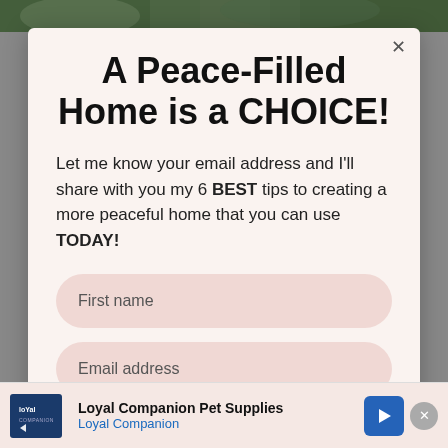[Figure (photo): Green foliage photo strip at top of page behind modal]
A Peace-Filled Home is a CHOICE!
Let me know your email address and I'll share with you my 6 BEST tips to creating a more peaceful home that you can use TODAY!
First name
Email address
[Figure (infographic): Loyal Companion Pet Supplies advertisement banner with logo, company name, navigation arrow icon, and close button]